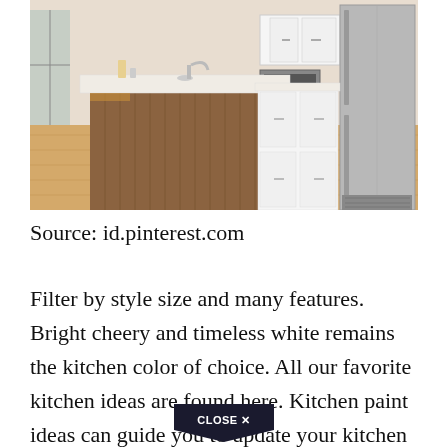[Figure (photo): Modern kitchen interior with a large wooden island with white countertop, white wall cabinets, stainless steel refrigerator, and light hardwood floors.]
Source: id.pinterest.com
Filter by style size and many features. Bright cheery and timeless white remains the kitchen color of choice. All our favorite kitchen ideas are found here. Kitchen paint ideas can guide you to update your kitchen